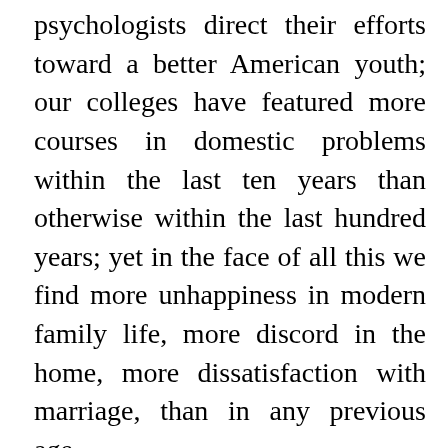psychologists direct their efforts toward a better American youth; our colleges have featured more courses in domestic problems within the last ten years than otherwise within the last hundred years; yet in the face of all this we find more unhappiness in modern family life, more discord in the home, more dissatisfaction with marriage, than in any previous age.
As your own letters prove,—on no subject do you write me more frequently than on marriage problems,—out of these unhappy family situations, where hate often rules instead of love, unfaithfulness